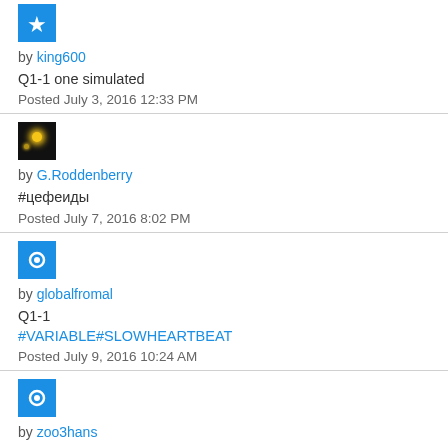[Figure (photo): Blue avatar icon for user king600]
by king600
Q1-1 one simulated
Posted July 3, 2016 12:33 PM
[Figure (photo): Dark avatar showing star/space image for user G.Roddenberry]
by G.Roddenberry
#цефеиды
Posted July 7, 2016 8:02 PM
[Figure (photo): Blue avatar with gear/settings icon for user globalfromal]
by globalfromal
Q1-1
#VARIABLE#SLOWHEARTBEAT
Posted July 9, 2016 10:24 AM
[Figure (photo): Blue avatar with gear/settings icon for user zoo3hans]
by zoo3hans
Q1-1 #simulation
Posted August 8, 2016 8:26 PM